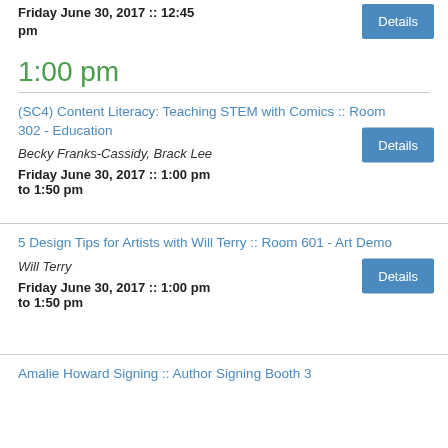Friday June 30, 2017 :: 12:45 pm
1:00 pm
(SC4) Content Literacy: Teaching STEM with Comics :: Room 302 - Education
Becky Franks-Cassidy, Brack Lee
Friday June 30, 2017 :: 1:00 pm to 1:50 pm
5 Design Tips for Artists with Will Terry :: Room 601 - Art Demo
Will Terry
Friday June 30, 2017 :: 1:00 pm to 1:50 pm
Amalie Howard Signing :: Author Signing Booth 3